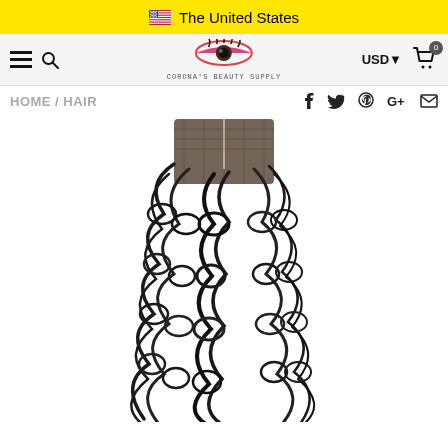The United States
[Figure (screenshot): Corona's Beauty Supply website navigation bar with hamburger menu, search icon, logo with eye graphic, USD currency selector, and cart icon showing 0 items]
HOME / HAIR
[Figure (photo): Curly hair lace closure product photo showing dark brown/black kinky curly hair with a lace weft at the top, on a white background]